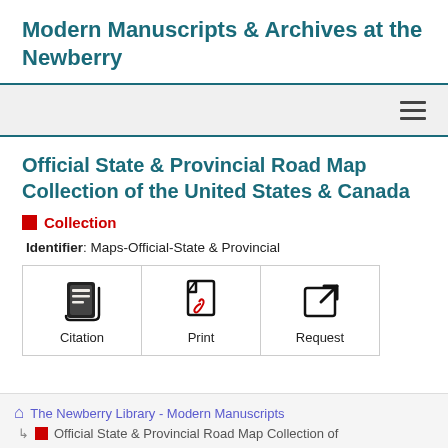Modern Manuscripts & Archives at the Newberry
Official State & Provincial Road Map Collection of the United States & Canada
Collection
Identifier: Maps-Official-State & Provincial
[Figure (infographic): Three action buttons: Citation (book icon), Print (PDF icon), Request (external link icon)]
The Newberry Library - Modern Manuscripts
Official State & Provincial Road Map Collection of